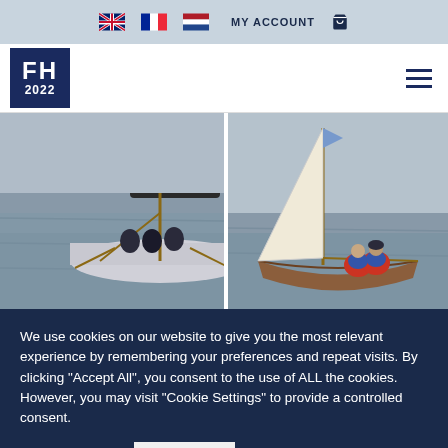MY ACCOUNT [navigation bar with language flags: UK, France, Netherlands, cart icon]
[Figure (logo): FH 2022 logo in dark navy square]
[Figure (photo): Left photo: sailing boat with people rowing on grey water, another boat in background]
[Figure (photo): Right photo: wooden sailboat with large white sail, people in red jackets on grey water]
We use cookies on our website to give you the most relevant experience by remembering your preferences and repeat visits. By clicking "Accept All", you consent to the use of ALL the cookies. However, you may visit "Cookie Settings" to provide a controlled consent.
Cookie Settings | Accept All